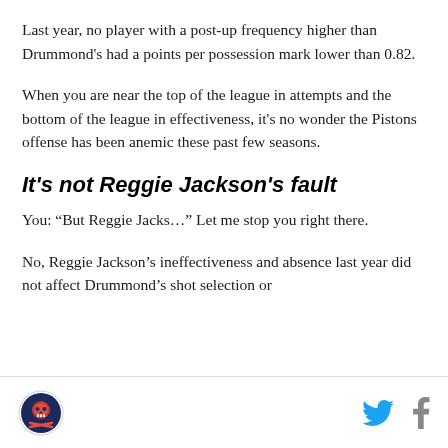Last year, no player with a post-up frequency higher than Drummond's had a points per possession mark lower than 0.82.
When you are near the top of the league in attempts and the bottom of the league in effectiveness, it's no wonder the Pistons offense has been anemic these past few seasons.
It's not Reggie Jackson's fault
You: “But Reggie Jacks…” Let me stop you right there.
No, Reggie Jackson’s ineffectiveness and absence last year did not affect Drummond’s shot selection or